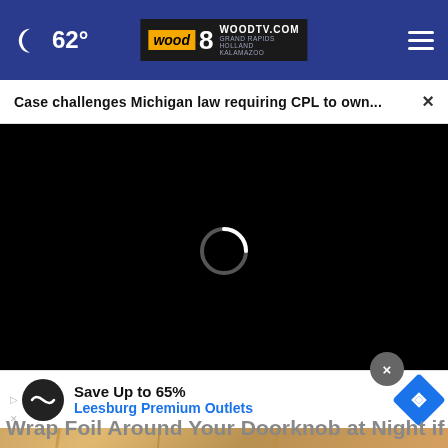62° WOODTV.COM wood8 GRAND RAPIDS HOLLAND KALAMAZOO
Case challenges Michigan law requiring CPL to own... ×
[Figure (screenshot): Black video player area with a loading spinner (white arc/circle) centered on the screen]
[Figure (photo): Partial view of a door with warm golden/bronze tones visible at the bottom of the screen]
Save Up to 65% Leesburg Premium Outlets
Wrap Foil Around Your Doorknob at Night if Alone